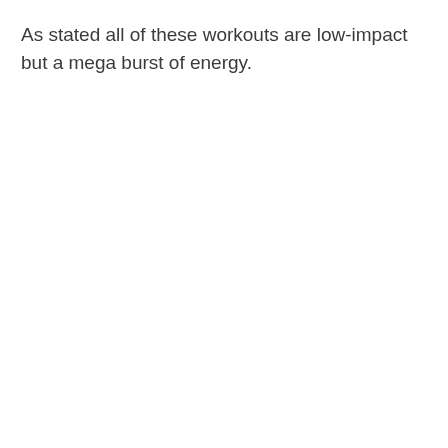As stated all of these workouts are low-impact but a mega burst of energy.